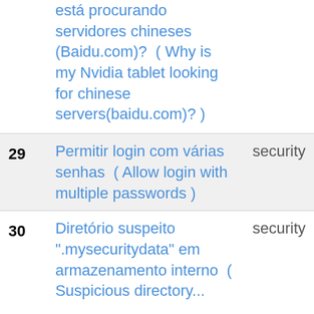| # | Question | Tag |
| --- | --- | --- |
|  | está procurando servidores chineses (Baidu.com)?  ( Why is my Nvidia tablet looking for chinese servers(baidu.com)? ) |  |
| 29 | Permitir login com várias senhas  ( Allow login with multiple passwords ) | security |
| 30 | Diretório suspeito ".mysecuritydata" em armazenamento interno  ( Suspicious directory... | security |